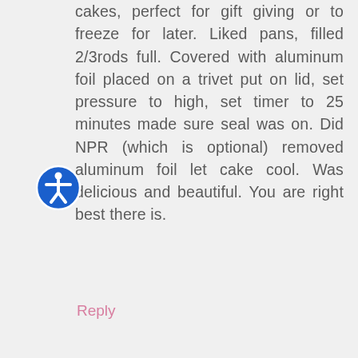cakes, perfect for gift giving or to freeze for later. Liked pans, filled 2/3rods full. Covered with aluminum foil placed on a trivet put on lid, set pressure to high, set timer to 25 minutes made sure seal was on. Did NPR (which is optional) removed aluminum foil let cake cool. Was delicious and beautiful. You are right best there is.
Reply